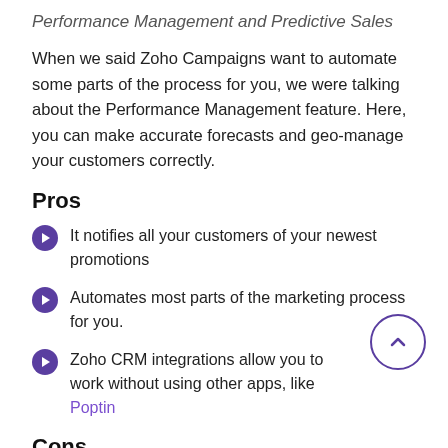Performance Management and Predictive Sales
When we said Zoho Campaigns want to automate some parts of the process for you, we were talking about the Performance Management feature. Here, you can make accurate forecasts and geo-manage your customers correctly.
Pros
It notifies all your customers of your newest promotions
Automates most parts of the marketing process for you.
Zoho CRM integrations allow you to work without using other apps, like Poptin
Cons